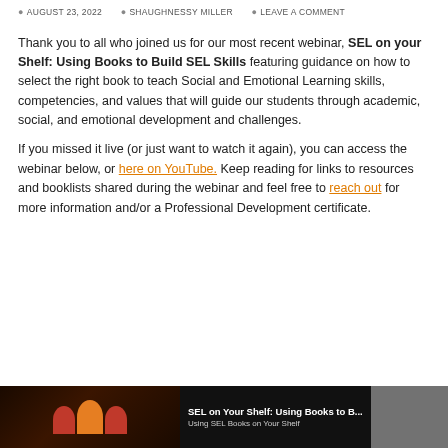AUGUST 23, 2022  SHAUGHNESSY MILLER  LEAVE A COMMENT
Thank you to all who joined us for our most recent webinar, SEL on your Shelf: Using Books to Build SEL Skills featuring guidance on how to select the right book to teach Social and Emotional Learning skills, competencies, and values that will guide our students through academic, social, and emotional development and challenges.
If you missed it live (or just want to watch it again), you can access the webinar below, or here on YouTube. Keep reading for links to resources and booklists shared during the webinar and feel free to reach out for more information and/or a Professional Development certificate.
[Figure (screenshot): Video thumbnail for 'SEL on Your Shelf: Using Books to B...' with dark background, colored silhouette icons, and a partial video still on the right.]